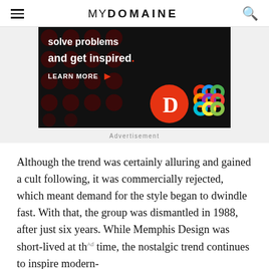MYDOMAINE
[Figure (screenshot): Dark advertisement banner with text 'solve problems and get inspired.' with a red period, 'LEARN MORE' button with arrow, and logos for The D Brief and a colorful Celtic knot/interlocking circles design on black background with dark red polka dot pattern.]
Advertisement
Although the trend was certainly alluring and gained a cult following, it was commercially rejected, which meant demand for the style began to dwindle fast. With that, the group was dismantled in 1988, after just six years. While Memphis Design was short-lived at th time, the nostalgic trend continues to inspire modern-